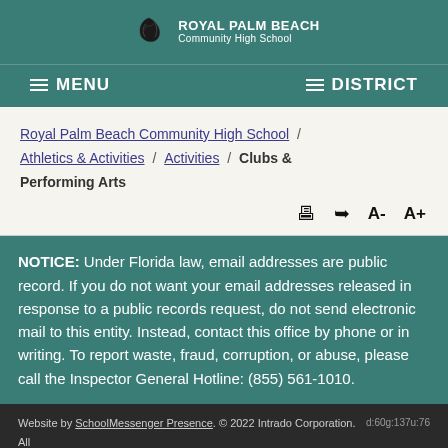ROYAL PALM BEACH Community High School
MENU   DISTRICT
Royal Palm Beach Community High School / Athletics & Activities / Activities / Clubs & Performing Arts
NOTICE: Under Florida law, email addresses are public record. If you do not want your email addresses released in response to a public records request, do not send electronic mail to this entity. Instead, contact this office by phone or in writing. To report waste, fraud, corruption, or abuse, please call the Inspector General Hotline: (855) 561-1010.
Website by SchoolMessenger Presence. © 2022 Intrado Corporation. All rights reserved.SchoolMessenger Sign In